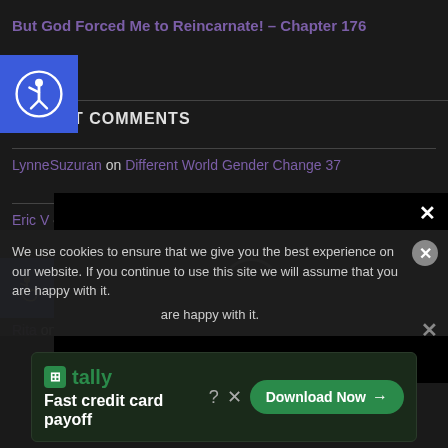But God Forced Me to Reincarnate! – Chapter 176
[Figure (other): Blue accessibility icon button (circular person with raised arm in white on blue background), top-left corner]
RECENT COMMENTS
LynneSuzuran on Different World Gender Change 37
Eric V on Different World Gender Change 37
[Figure (other): Blue accessibility icon button (wheelchair user in white on blue background), left side]
Rita on But God Forced Me...
Rita on But God Forced Me...
[Figure (other): Black video overlay popup with spinner loading circle and X close button]
We use cookies to ensure that we give you the best experience on our website. If you continue to use this site we will assume that you are happy with it.
[Figure (other): Advertisement banner: Tally – Fast credit card payoff, with Download Now button]